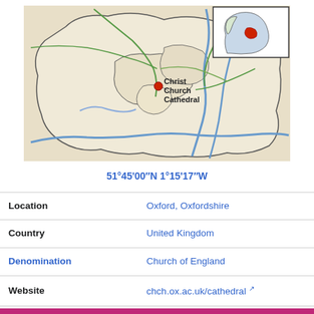[Figure (map): Map of Oxford diocese area showing Christ Church Cathedral location marked with a red dot, with an inset map of England highlighting the region in red. Blue rivers visible, green roads, beige terrain.]
| (coordinates) | 51°45'00″N 1°15'17″W |
| Location | Oxford, Oxfordshire |
| Country | United Kingdom |
| Denomination | Church of England |
| Website | chch.ox.ac.uk/cathedral ↗ |